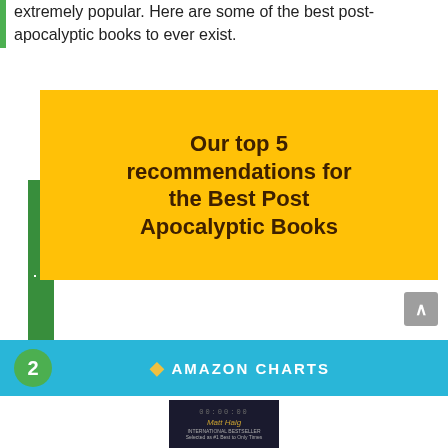extremely popular. Here are some of the best post-apocalyptic books to ever exist.
[Figure (infographic): Yellow box with dark brown bold text reading 'Our top 5 recommendations for the Best Post Apocalyptic Books', with a green side bar on the left containing three dots.]
[Figure (infographic): Light blue Amazon Charts banner with a green circle containing the number 2, and the Amazon Charts logo with text 'AMAZON CHARTS' in white bold letters.]
[Figure (photo): Book cover for a Matt Haig novel with a dark background, digital clock display showing 00:00:00, and author name in stylized font.]